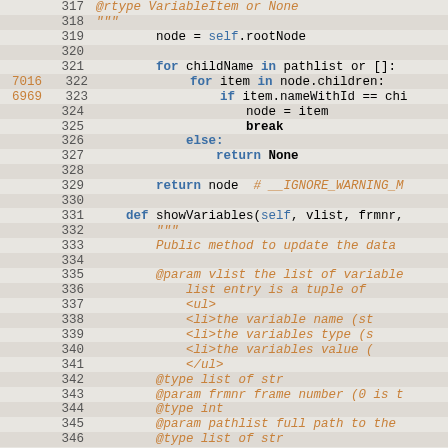[Figure (screenshot): Source code viewer showing Python code lines 317-346 with line numbers, coverage counts, and syntax-highlighted code. Lines alternate in background color. Keywords in blue, docstrings and comments in orange italic.]